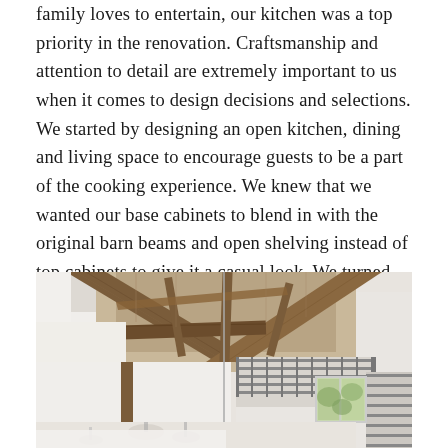family loves to entertain, our kitchen was a top priority in the renovation. Craftsmanship and attention to detail are extremely important to us when it comes to design decisions and selections. We started by designing an open kitchen, dining and living space to encourage guests to be a part of the cooking experience. We knew that we wanted our base cabinets to blend in with the original barn beams and open shelving instead of top cabinets to give it a casual look. We turned an old trophy case with a cement top into a unique island that seats eight.
[Figure (photo): Interior photograph of a renovated barn showing exposed wooden beams forming a peaked roof structure, white walls, a metal railing/loft area, and windows with green foliage visible outside. The bottom portion shows hanging pendant lights and hints of the kitchen below.]